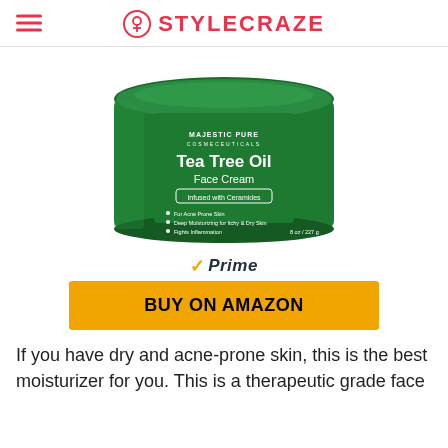STYLECRAZE
[Figure (photo): Green jar of Majestic Pure Tea Tree Oil Face Cream, Infused with Ceramides, 8 oz / 227g, for Acne Prone Skin, Deep Moisturizing for Itchy & Dry Skin, Fights Inflammation]
Prime
BUY ON AMAZON
If you have dry and acne-prone skin, this is the best moisturizer for you. This is a therapeutic grade face